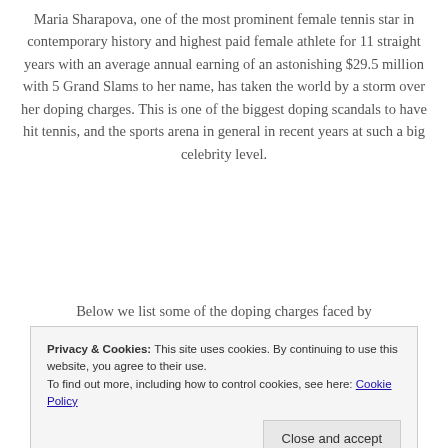Maria Sharapova, one of the most prominent female tennis star in contemporary history and highest paid female athlete for 11 straight years with an average annual earning of an astonishing $29.5 million with 5 Grand Slams to her name, has taken the world by a storm over her doping charges. This is one of the biggest doping scandals to have hit tennis, and the sports arena in general in recent years at such a big celebrity level.
Below we list some of the doping charges faced by
Privacy & Cookies: This site uses cookies. By continuing to use this website, you agree to their use. To find out more, including how to control cookies, see here: Cookie Policy
Close and accept
Marin Cilic